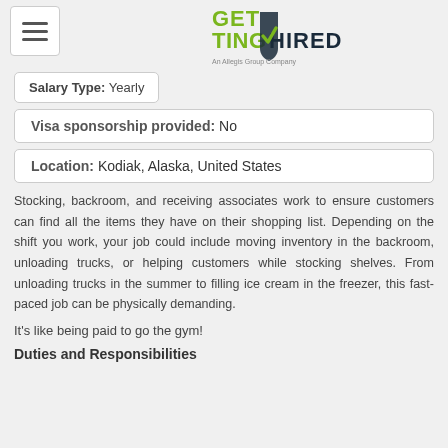[Figure (logo): Getting Hired logo - green and dark blue text with checkmark in a shield shape, subtitle 'An Allegis Group Company']
Salary Type: Yearly
Visa sponsorship provided: No
Location: Kodiak, Alaska, United States
Stocking, backroom, and receiving associates work to ensure customers can find all the items they have on their shopping list. Depending on the shift you work, your job could include moving inventory in the backroom, unloading trucks, or helping customers while stocking shelves. From unloading trucks in the summer to filling ice cream in the freezer, this fast-paced job can be physically demanding.
It's like being paid to go the gym!
Duties and Responsibilities